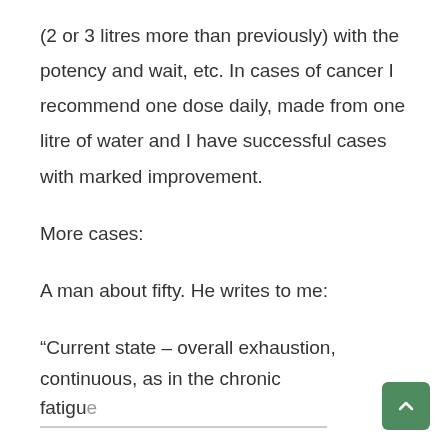(2 or 3 litres more than previously) with the potency and wait, etc. In cases of cancer I recommend one dose daily, made from one litre of water and I have successful cases with marked improvement.
More cases:
A man about fifty. He writes to me:
“Current state – overall exhaustion, continuous, as in the chronic fatigu…